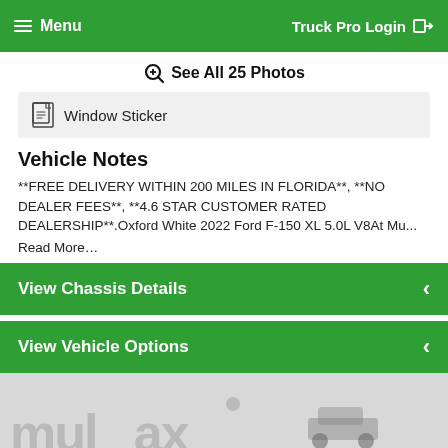Menu | Truck Pro Login
See All 25 Photos
Window Sticker
Vehicle Notes
**FREE DELIVERY WITHIN 200 MILES IN FLORIDA**, **NO DEALER FEES**, **4.6 STAR CUSTOMER RATED DEALERSHIP**.Oxford White 2022 Ford F-150 XL 5.0L V8At Mu...
Read More...
View Chassis Details
View Vehicle Options
[Figure (photo): Partial dealership watermark photo showing 'mulinax' text overlay with a vehicle in background]